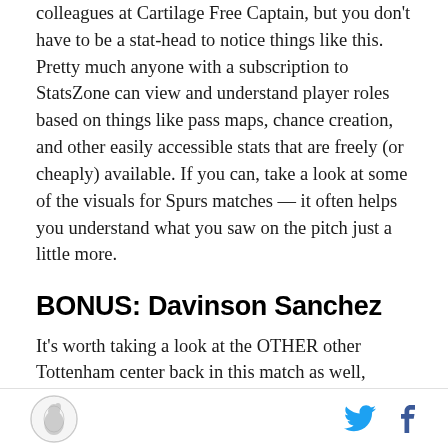colleagues at Cartilage Free Captain, but you don't have to be a stat-head to notice things like this. Pretty much anyone with a subscription to StatsZone can view and understand player roles based on things like pass maps, chance creation, and other easily accessible stats that are freely (or cheaply) available. If you can, take a look at some of the visuals for Spurs matches — it often helps you understand what you saw on the pitch just a little more.
BONUS: Davinson Sanchez
It's worth taking a look at the OTHER other Tottenham center back in this match as well, because Davinson Sanchez's role was pretty different from the other two. Davinson was deployed centrally with both Jan and